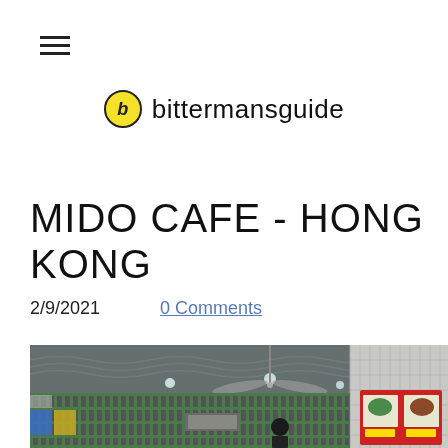≡
[Figure (logo): bittermansguide logo: yellow circle with italic b, followed by text 'bittermansguide']
MIDO CAFE - HONG KONG
2/9/2021    0 Comments
[Figure (photo): Interior photo of Mido Cafe in Hong Kong, showing ceiling fans, patterned ceiling, green grid windows with colorful stained panels (blue, yellow), a person standing inside, and a food menu poster on the right wall.]